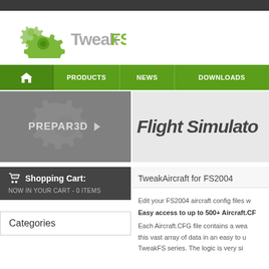[Figure (logo): TweakFS logo with green gear icons and text 'TweakFS' in grey and green]
Home | PRODUCTS | NEWS | DOWNLOADS
[Figure (illustration): PREPAR3D banner with grey background and gear icon]
[Figure (illustration): Flight Simulator text banner on light grey background]
Shopping Cart:
NOW IN YOUR CART - 0 ITEMS
Categories
TweakAircraft for FS2004
Edit your FS2004 aircraft config files w
Easy access to up to 500+ Aircraft.CF
Each Aircraft.CFG file contains a wea this vast array of data in an easy to u TweakFS series. The logic is very si